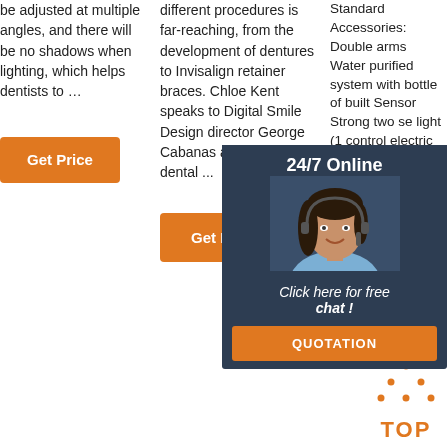be adjusted at multiple angles, and there will be no shadows when lighting, which helps dentists to …
different procedures is far-reaching, from the development of dentures to Invisalign retainer braces. Chloe Kent speaks to Digital Smile Design director George Cabanas and Formlabs dental ...
Standard Accessories: Double arms Water purified system with bottle of built Sensor Strong two se light (1 control electric film vie Motor; thermo supply Motor Handpiece tubing with standard ...
[Figure (photo): Customer service representative with headset smiling, overlaid with chat widget showing '24/7 Online', 'Click here for free chat!', and 'QUOTATION' button]
[Figure (illustration): Orange dotted triangle 'TOP' logo icon]
Get Price
Get Price
Get Price